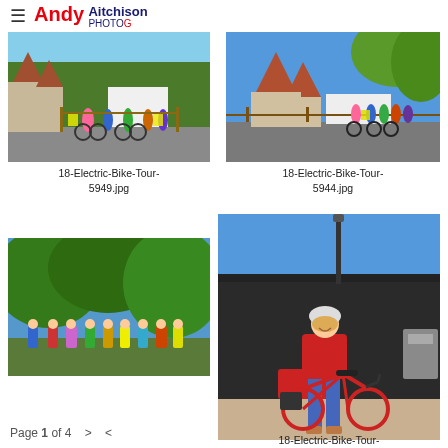Andy Aitchison Photography
[Figure (photo): Group of cyclists with bikes near oast house buildings, trees in background, close-up view]
18-Electric-Bike-Tour-5949.jpg
[Figure (photo): Group of cyclists with bikes near oast house buildings, wider view with blue sky]
18-Electric-Bike-Tour-5944.jpg
[Figure (photo): Group of people standing in front of lush green trees on a sunny day]
[Figure (photo): Woman in red jumper standing with a red electric bicycle outside a dark building]
18-Electric-Bike-Tour-
Page 1 of 4